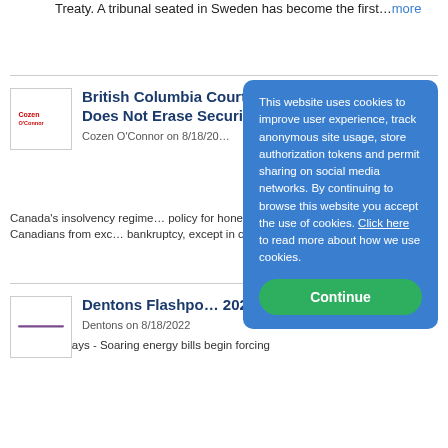Treaty. A tribunal seated in Sweden has become the first...more
British Columbia Court of Appeal Rules that Bankruptcy Does Not Erase Securities Pena...
Cozen O'Connor on 8/18/20...
Canada's insolvency regime... policy for honest but unfortunate... relieves Canadians from exc... bankruptcy, except in certain... debt arises...more
Dentons Flashpo... 2022
Dentons on 8/18/2022
Key Takeaways - Soaring energy bills begin forcing
This website uses cookies to improve user experience, track anonymous site usage, store authorization tokens and permit sharing on social media networks. By continuing to browse this website you accept the use of cookies. Click here to read more about how we use cookies. Continue